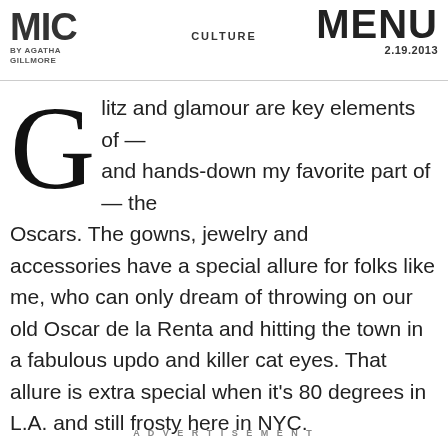MIC BY AGATHA GILLMORE | CULTURE | MENU 2.19.2013
Glitz and glamour are key elements of — and hands-down my favorite part of — the Oscars. The gowns, jewelry and accessories have a special allure for folks like me, who can only dream of throwing on our old Oscar de la Renta and hitting the town in a fabulous updo and killer cat eyes. That allure is extra special when it's 80 degrees in L.A. and still frosty here in NYC.
ADVERTISEMENT